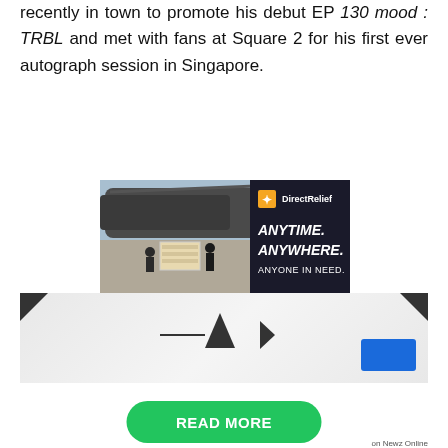recently in town to promote his debut EP 130 mood : TRBL and met with fans at Square 2 for his first ever autograph session in Singapore.
[Figure (photo): Direct Relief advertisement banner showing military personnel unloading cargo from a helicopter on an airstrip. Text reads: DirectRelief ANYTIME. ANYWHERE. ANYONE IN NEED.]
[Figure (screenshot): Bottom portion of a webpage/app showing a partial banner with dark triangular corners and a blue box. A green READ MORE button is visible, and 'on Newz Online' label appears at bottom right.]